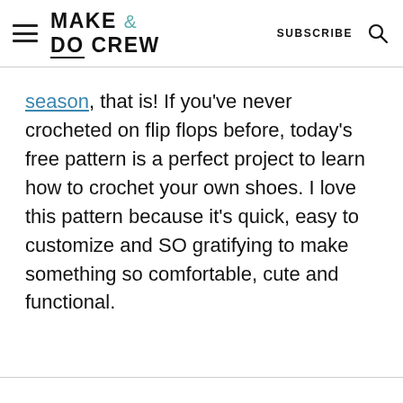MAKE & DO CREW | SUBSCRIBE
season, that is! If you've never crocheted on flip flops before, today's free pattern is a perfect project to learn how to crochet your own shoes. I love this pattern because it's quick, easy to customize and SO gratifying to make something so comfortable, cute and functional.